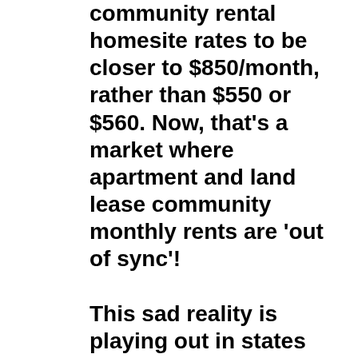community rental homesite rates to be closer to $850/month, rather than $550 or $560. Now, that's a market where apartment and land lease community monthly rents are 'out of sync'!

This sad reality is playing out in states throughout the U.S. as 'Rent-Control Measures (become) a Top Priority for Local Lawmakers' (title of a